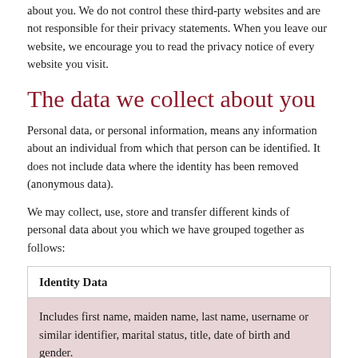about you. We do not control these third-party websites and are not responsible for their privacy statements. When you leave our website, we encourage you to read the privacy notice of every website you visit.
The data we collect about you
Personal data, or personal information, means any information about an individual from which that person can be identified. It does not include data where the identity has been removed (anonymous data).
We may collect, use, store and transfer different kinds of personal data about you which we have grouped together as follows:
| Identity Data |
| --- |
| Includes first name, maiden name, last name, username or similar identifier, marital status, title, date of birth and gender. |